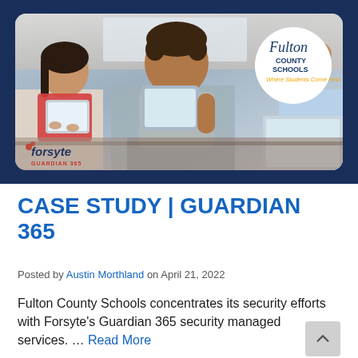[Figure (photo): Hero image showing students using tablets in a classroom, with Forsyte Guardian 365 logo overlay in bottom-left and Fulton County Schools circular logo in top-right. Dark navy blue border/background behind the photo.]
CASE STUDY | GUARDIAN 365
Posted by Austin Morthland on April 21, 2022
Fulton County Schools concentrates its security efforts with Forsyte's Guardian 365 security managed services. … Read More